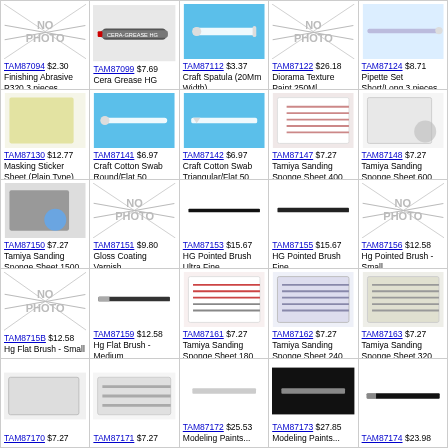| TAM87094 $2.30 Finishing Abrasive P320 3 pieces | TAM87099 $7.69 Cera Grease HG | TAM87112 $3.37 Craft Spatula (20Mm Width) | TAM87122 $26.18 Diorama Texture Paint 250Ml | TAM87124 $8.71 Pipette Set Short/Long 3 pieces each |
| TAM87130 $12.77 Masking Sticker Sheet (Plain Type) (5) | TAM87141 $6.97 Craft Cotton Swab Round/Flat 50 | TAM87142 $6.97 Craft Cotton Swab Triangular/Flat 50 | TAM87147 $7.27 Tamiya Sanding Sponge Sheet 400 | TAM87148 $7.27 Tamiya Sanding Sponge Sheet 600 |
| TAM87150 $7.27 Tamiya Sanding Sponge Sheet 1500 | TAM87151 $9.80 Gloss Coating Varnish | TAM87153 $15.67 HG Pointed Brush Ultra Fine | TAM87155 $15.67 HG Pointed Brush Fine | TAM87156 $12.58 Hg Pointed Brush - Small |
| TAM8715B $12.58 Hg Flat Brush - Small | TAM87159 $12.58 Hg Flat Brush - Medium | TAM87161 $7.27 Tamiya Sanding Sponge Sheet 180 | TAM87162 $7.27 Tamiya Sanding Sponge Sheet 240 | TAM87163 $7.27 Tamiya Sanding Sponge Sheet 320 |
| TAM87170 $7.27 | TAM87171 $7.27 | TAM87172 $25.53 Modeling Paints... | TAM87173 $27.85 Modeling Paints... | TAM87174 $23.98 |